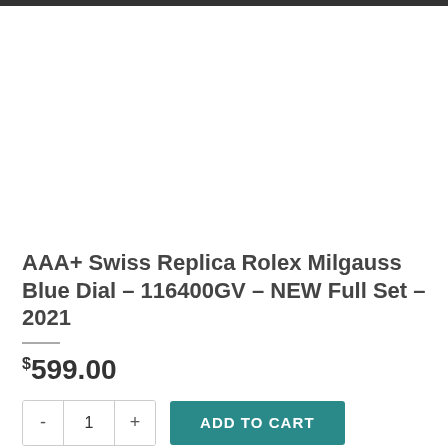[Figure (photo): Product image area (blank/white) for watch product listing]
AAA+ Swiss Replica Rolex Milgauss Blue Dial – 116400GV – NEW Full Set – 2021
$599.00
- 1 + ADD TO CART